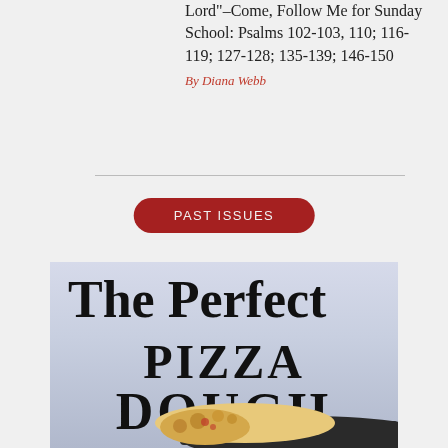Lord”–Come, Follow Me for Sunday School: Psalms 102-103, 110; 116-119; 127-128; 135-139; 146-150
By Diana Webb
[Figure (other): Red rounded rectangle button with text PAST ISSUES in white uppercase letters]
[Figure (illustration): The Perfect PIZZA DOUGH - large bold text overlaid on a light blue-grey background with a photo of pizza dough in a dark pan at the bottom]